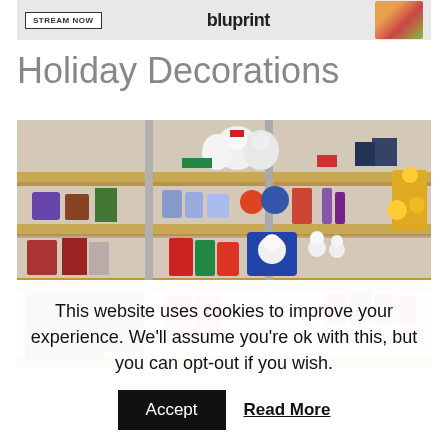[Figure (screenshot): Advertisement banner with 'STREAM NOW' button, 'bluprint' text logo, and food image on the right]
Holiday Decorations
[Figure (photo): Shelves full of holiday decorations including stuffed animals, snowmen, Christmas figurines, plates, mugs, and other festive items at what appears to be a thrift or resale store]
This website uses cookies to improve your experience. We'll assume you're ok with this, but you can opt-out if you wish.
Accept   Read More